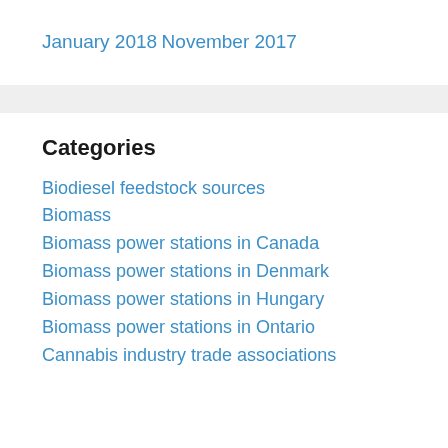January 2018
November 2017
Categories
Biodiesel feedstock sources
Biomass
Biomass power stations in Canada
Biomass power stations in Denmark
Biomass power stations in Hungary
Biomass power stations in Ontario
Cannabis industry trade associations